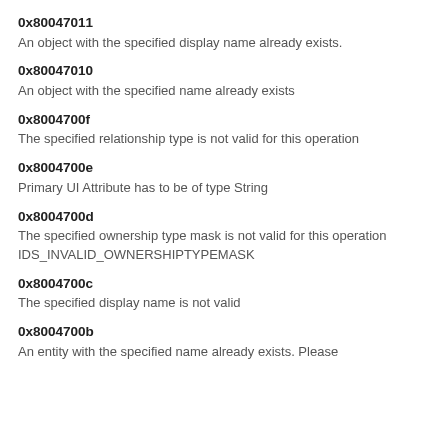0x80047011
An object with the specified display name already exists.
0x80047010
An object with the specified name already exists
0x8004700f
The specified relationship type is not valid for this operation
0x8004700e
Primary UI Attribute has to be of type String
0x8004700d
The specified ownership type mask is not valid for this operation
IDS_INVALID_OWNERSHIPTYPEMASK
0x8004700c
The specified display name is not valid
0x8004700b
An entity with the specified name already exists. Please